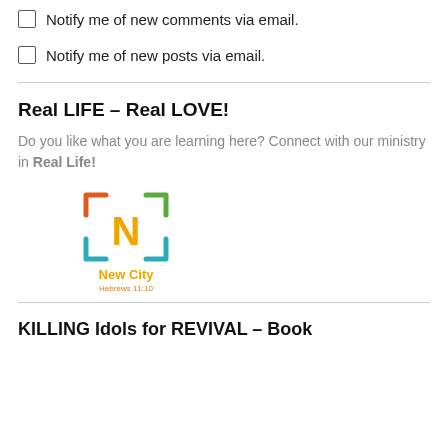Notify me of new comments via email.
Notify me of new posts via email.
Real LIFE – Real LOVE!
Do you like what you are learning here? Connect with our ministry in Real Life!
[Figure (logo): New City church logo with stylized N inside a bracket square, orange and teal colors, with text 'New City' in orange and 'Hebrews 11:10' in orange below]
KILLING Idols for REVIVAL – Book